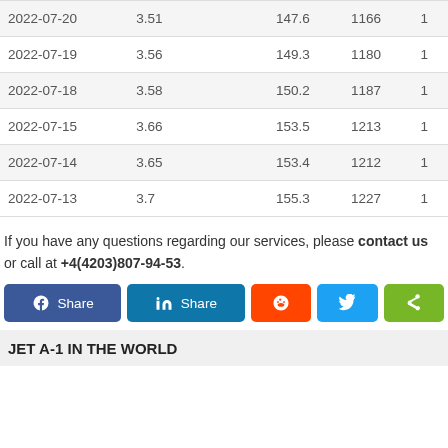| Date | Price |  | USD/MT | EUR/MT |  |
| --- | --- | --- | --- | --- | --- |
| 2022-07-20 | 3.51 |  | 147.6 | 1166 | 1 |
| 2022-07-19 | 3.56 |  | 149.3 | 1180 | 1 |
| 2022-07-18 | 3.58 |  | 150.2 | 1187 | 1 |
| 2022-07-15 | 3.66 |  | 153.5 | 1213 | 1 |
| 2022-07-14 | 3.65 |  | 153.4 | 1212 | 1 |
| 2022-07-13 | 3.7 |  | 155.3 | 1227 | 1 |
If you have any questions regarding our services, please contact us or call at +4(4203)807-94-53.
[Figure (other): Social share buttons: Facebook Share, LinkedIn Share, Reddit, Twitter, and a generic share button]
JET A-1 IN THE WORLD